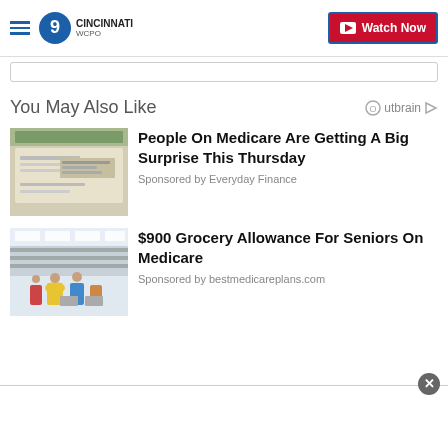WCPO 9 CINCINNATI | Watch Now
You May Also Like
[Figure (photo): Close-up of a check or financial document with handwritten address]
People On Medicare Are Getting A Big Surprise This Thursday
Sponsored by Everyday Finance
[Figure (photo): People shopping in a grocery store aisle with carts]
$900 Grocery Allowance For Seniors On Medicare
Sponsored by bestmedicareplans.com